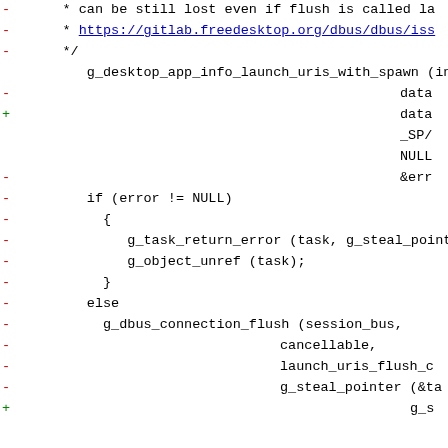Code diff showing removal of dbus flush and related error handling, replacing g_desktop_app_info_launch_uris_with_spawn call parameters and if/else block for error handling with g_dbus_connection_flush.